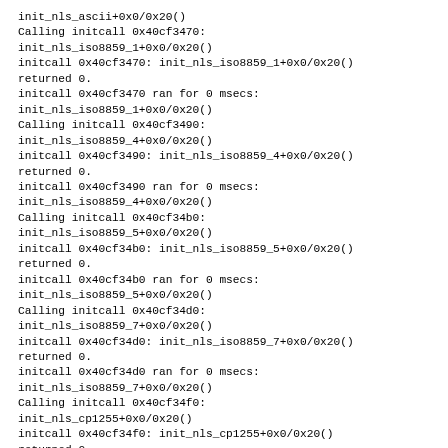init_nls_ascii+0x0/0x20()
Calling initcall 0x40cf3470:
init_nls_iso8859_1+0x0/0x20()
initcall 0x40cf3470: init_nls_iso8859_1+0x0/0x20() returned 0.
initcall 0x40cf3470 ran for 0 msecs:
init_nls_iso8859_1+0x0/0x20()
Calling initcall 0x40cf3490:
init_nls_iso8859_4+0x0/0x20()
initcall 0x40cf3490: init_nls_iso8859_4+0x0/0x20() returned 0.
initcall 0x40cf3490 ran for 0 msecs:
init_nls_iso8859_4+0x0/0x20()
Calling initcall 0x40cf34b0:
init_nls_iso8859_5+0x0/0x20()
initcall 0x40cf34b0: init_nls_iso8859_5+0x0/0x20() returned 0.
initcall 0x40cf34b0 ran for 0 msecs:
init_nls_iso8859_5+0x0/0x20()
Calling initcall 0x40cf34d0:
init_nls_iso8859_7+0x0/0x20()
initcall 0x40cf34d0: init_nls_iso8859_7+0x0/0x20() returned 0.
initcall 0x40cf34d0 ran for 0 msecs:
init_nls_iso8859_7+0x0/0x20()
Calling initcall 0x40cf34f0:
init_nls_cp1255+0x0/0x20()
initcall 0x40cf34f0: init_nls_cp1255+0x0/0x20() returned 0.
initcall 0x40cf34f0 ran for 0 msecs: